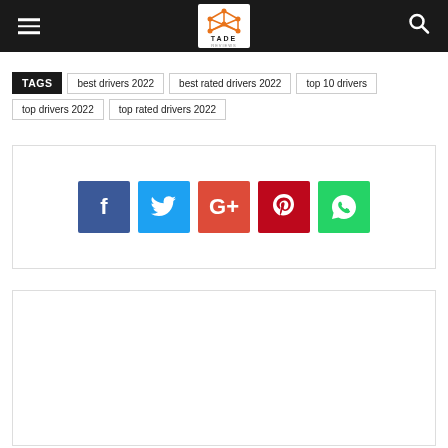TADE Reviews - navigation header with logo, hamburger menu, and search icon
TAGS: best drivers 2022, best rated drivers 2022, top 10 drivers, top drivers 2022, top rated drivers 2022
[Figure (infographic): Social sharing buttons: Facebook (blue), Twitter (light blue), Google+ (red-orange), Pinterest (dark red), WhatsApp (green)]
[Figure (other): Empty white content box at the bottom of the page]